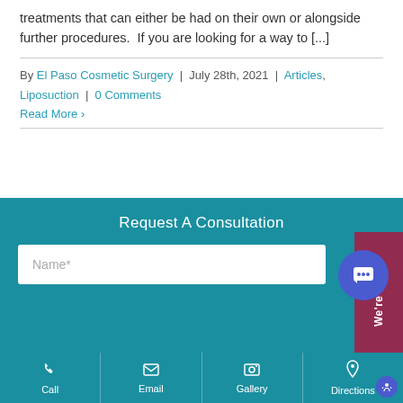treatments that can either be had on their own or alongside further procedures.  If you are looking for a way to [...]
By El Paso Cosmetic Surgery | July 28th, 2021 | Articles, Liposuction | 0 Comments
Read More >
Request A Consultation
Name*
Call | Email | Gallery | Directions